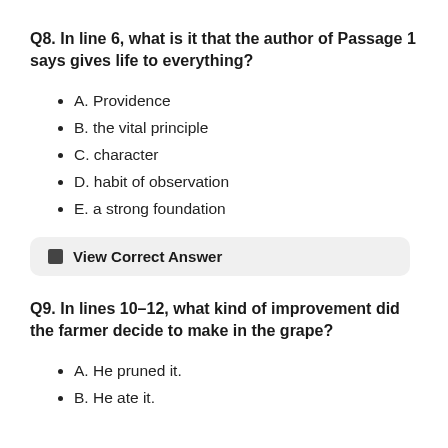Q8. In line 6, what is it that the author of Passage 1 says gives life to everything?
A. Providence
B. the vital principle
C. character
D. habit of observation
E. a strong foundation
View Correct Answer
Q9. In lines 10–12, what kind of improvement did the farmer decide to make in the grape?
A. He pruned it.
B. He ate it.